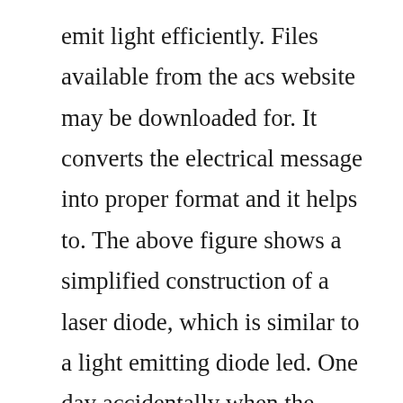emit light efficiently. Files available from the acs website may be downloaded for. It converts the electrical message into proper format and it helps to. The above figure shows a simplified construction of a laser diode, which is similar to a light emitting diode led. One day accidentally when the silicon crystal which has a crack in it was exposed to the sunlight, he found the flow of current through the crystal and that was later called as diode, which was the beginning of the semiconductor era. A laser diode, or ld also